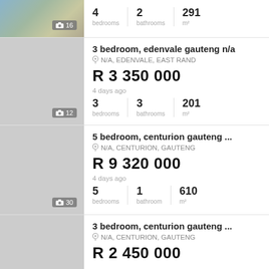[Figure (photo): Aerial/landscape property photo, partial view at top of page showing rooftop and surroundings]
16 | 4 bedrooms | 2 bathrooms | 291 m²
3 bedroom, edenvale gauteng n/a
N/A, EDENVALE, EAST RAND
R 3 350 000
4 days ago
12 | 3 bedrooms | 3 bathrooms | 201 m²
5 bedroom, centurion gauteng ...
N/A, CENTURION, GAUTENG
R 9 320 000
4 days ago
30 | 5 bedrooms | 1 bathroom | 610 m²
3 bedroom, centurion gauteng ...
N/A, CENTURION, GAUTENG
R 2 450 000